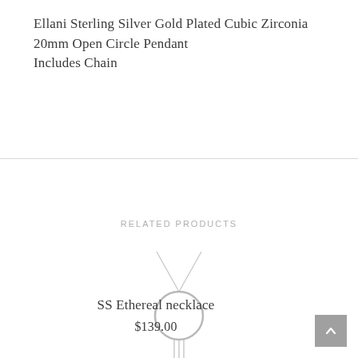Ellani Sterling Silver Gold Plated Cubic Zirconia 20mm Open Circle Pendant
Includes Chain
RELATED PRODUCTS
[Figure (photo): SS Ethereal necklace product photo: a delicate silver necklace with a large open circle pendant and vertical bar dangles below, on white background]
SS Ethereal necklace
$139.00